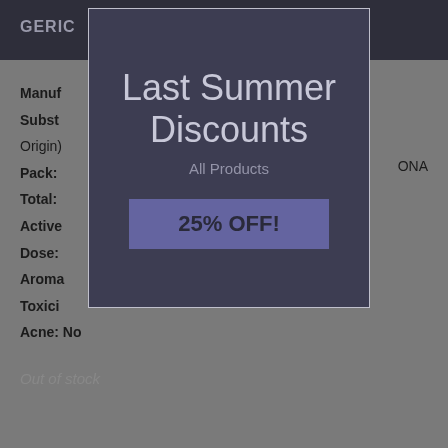GERIC
Manufacturer:
Substance:
Origin)
Pack:
Total:
Active:
Dose:
Aroma:
Toxicity:
Acne: No
ONA
Last Summer Discounts
All Products
25% OFF!
Out of stock